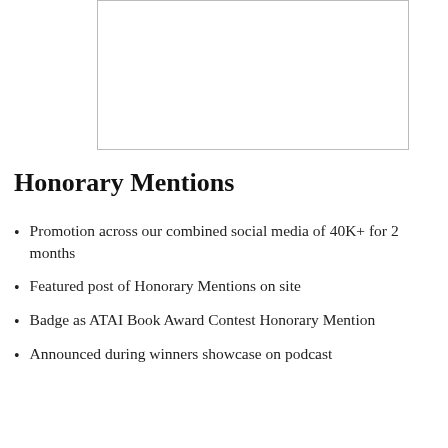[Figure (other): White rectangular placeholder/image area with a light border]
Honorary Mentions
Promotion across our combined social media of 40K+ for 2 months
Featured post of Honorary Mentions on site
Badge as ATAI Book Award Contest Honorary Mention
Announced during winners showcase on podcast